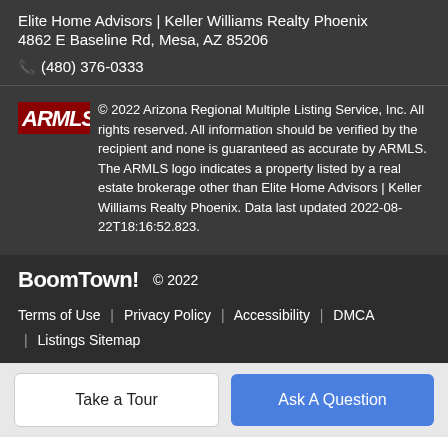Elite Home Advisors | Keller Williams Realty Phoenix
4862 E Baseline Rd, Mesa, AZ 85206
📞 (480) 376-0333
© 2022 Arizona Regional Multiple Listing Service, Inc. All rights reserved. All information should be verified by the recipient and none is guaranteed as accurate by ARMLS. The ARMLS logo indicates a property listed by a real estate brokerage other than Elite Home Advisors | Keller Williams Realty Phoenix. Data last updated 2022-08-22T18:16:52.823.
BoomTown! © 2022
Terms of Use | Privacy Policy | Accessibility | DMCA | Listings Sitemap
Take a Tour
Ask A Question